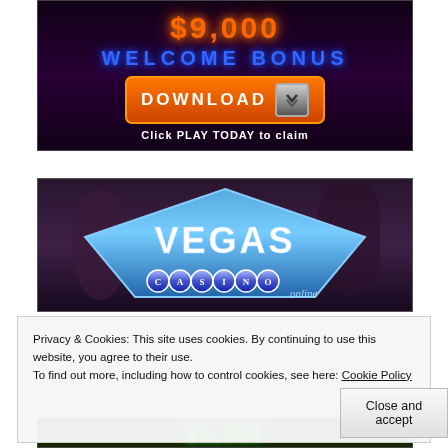[Figure (illustration): Casino welcome bonus banner with neon orange dollar amount, blue glowing WELCOME BONUS text, orange DOWNLOAD button with arrow icon, and white text: Click PLAY TODAY to claim]
[Figure (logo): Vegas Casino online logo — blue diamond/pentagon shape with VEGAS text inside, CASINO spelled in blue bubble letters below, on dark purple background with people in background]
Privacy & Cookies: This site uses cookies. By continuing to use this website, you agree to their use.
To find out more, including how to control cookies, see here: Cookie Policy
Close and accept
[Figure (illustration): Bottom strip showing partial green neon casino bonus amount graphic]